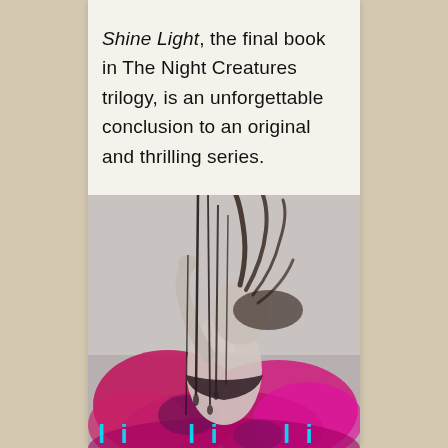Shine Light, the final book in The Night Creatures trilogy, is an unforgettable conclusion to an original and thrilling series.
[Figure (illustration): Book cover art for 'Shine Light' showing a woman with flowing dark hair reaching upward against a grey and pink/magenta splattered background, with dark dripping lines over her. The title text appears partially visible in cyan/teal at the bottom.]